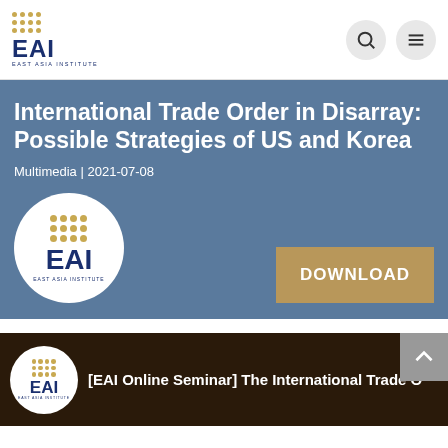EAI EAST ASIA INSTITUTE
International Trade Order in Disarray: Possible Strategies of US and Korea
Multimedia | 2021-07-08
[Figure (logo): EAI East Asia Institute circular logo with gold dot grid and navy blue text on white circle background]
DOWNLOAD
[Figure (screenshot): EAI Online Seminar video thumbnail with EAI logo and text: [EAI Online Seminar] The International Trade O...]